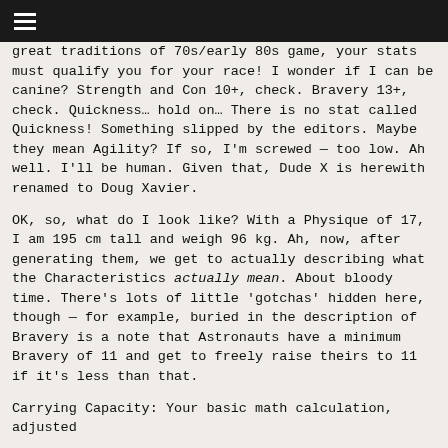☰
great traditions of 70s/early 80s game, your stats must qualify you for your race! I wonder if I can be canine? Strength and Con 10+, check. Bravery 13+, check. Quickness… hold on… There is no stat called Quickness! Something slipped by the editors. Maybe they mean Agility? If so, I'm screwed — too low. Ah well. I'll be human. Given that, Dude X is herewith renamed to Doug Xavier.
OK, so, what do I look like? With a Physique of 17, I am 195 cm tall and weigh 96 kg. Ah, now, after generating them, we get to actually describing what the Characteristics actually mean. About bloody time. There's lots of little 'gotchas' hidden here, though — for example, buried in the description of Bravery is a note that Astronauts have a minimum Bravery of 11 and get to freely raise theirs to 11 if it's less than that.
Carrying Capacity: Your basic math calculation, adjusted